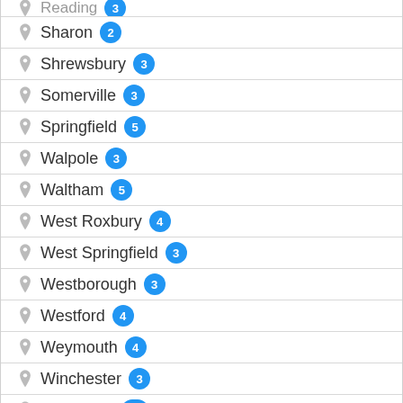Sharon 2
Shrewsbury 3
Somerville 3
Springfield 5
Walpole 3
Waltham 5
West Roxbury 4
West Springfield 3
Westborough 3
Westford 4
Weymouth 4
Winchester 3
Worcester 17